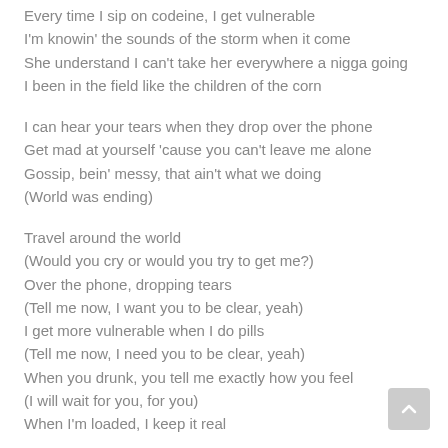Every time I sip on codeine, I get vulnerable
I'm knowin' the sounds of the storm when it come
She understand I can't take her everywhere a nigga going
I been in the field like the children of the corn
I can hear your tears when they drop over the phone
Get mad at yourself 'cause you can't leave me alone
Gossip, bein' messy, that ain't what we doing
(World was ending)
Travel around the world
(Would you cry or would you try to get me?)
Over the phone, dropping tears
(Tell me now, I want you to be clear, yeah)
I get more vulnerable when I do pills
(Tell me now, I need you to be clear, yeah)
When you drunk, you tell me exactly how you feel
(I will wait for you, for you)
When I'm loaded, I keep it real